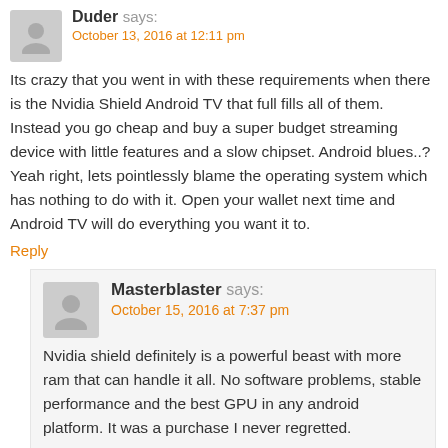Duder says: October 13, 2016 at 12:11 pm
Its crazy that you went in with these requirements when there is the Nvidia Shield Android TV that full fills all of them. Instead you go cheap and buy a super budget streaming device with little features and a slow chipset. Android blues..? Yeah right, lets pointlessly blame the operating system which has nothing to do with it. Open your wallet next time and Android TV will do everything you want it to.
Reply
Masterblaster says: October 15, 2016 at 7:37 pm
Nvidia shield definitely is a powerful beast with more ram that can handle it all. No software problems, stable performance and the best GPU in any android platform. It was a purchase I never regretted.
Reply